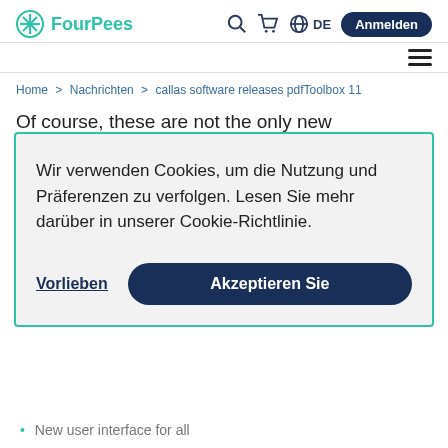FourPees — navigation header with logo, search, cart, DE language, Anmelden button, hamburger menu
Home > Nachrichten > callas software releases pdfToolbox 11
Of course, these are not the only new
Wir verwenden Cookies, um die Nutzung und Präferenzen zu verfolgen. Lesen Sie mehr darüber in unserer Cookie-Richtlinie.
Vorlieben   Akzeptieren Sie
New user interface for all